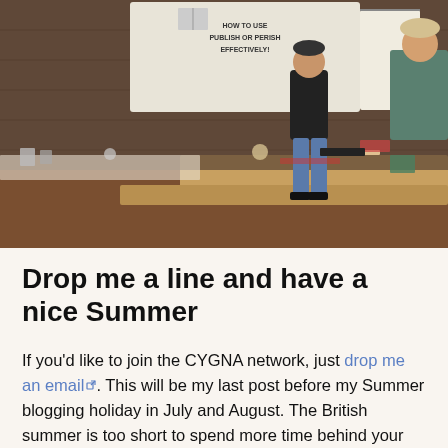[Figure (photo): A workshop or seminar scene in a brick-walled room. A presenter in a black jacket sits/stands near a projection screen showing 'HOW TO USE PUBLISH OR PERISH EFFECTIVELY'. Several attendees sit around a wooden table with papers and drinks.]
Drop me a line and have a nice Summer
If you'd like to join the CYGNA network, just drop me an email. This will be my last post before my Summer blogging holiday in July and August. The British summer is too short to spend more time behind your computer than is